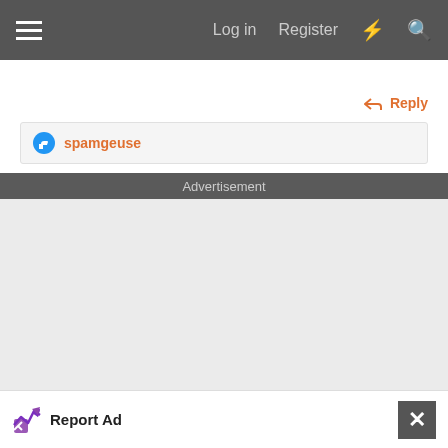Log in  Register
[truncated post content]
Reply
spamgeuse
Advertisement
[Figure (other): Advertisement placeholder area (blank gray box)]
Report Ad